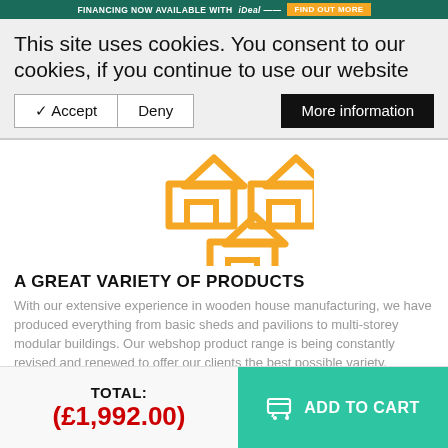FINANCING NOW AVAILABLE WITH iDeal — FIND OUT MORE
This site uses cookies. You consent to our cookies, if you continue to use our website
[Figure (illustration): Three yellow outline house icons arranged in a triangular pattern (two on top, one below center)]
A GREAT VARIETY OF PRODUCTS
With our extensive experience in wooden house manufacturing, we have produced everything from basic sheds and pavilions to multi-storey modular buildings. Our webshop product range is being constantly revised and renewed to offer our clients the best possible variety.
[Figure (illustration): Partial yellow toolbox/briefcase icon at bottom of content area]
TOTAL: (£1,992.00)
ADD TO CART